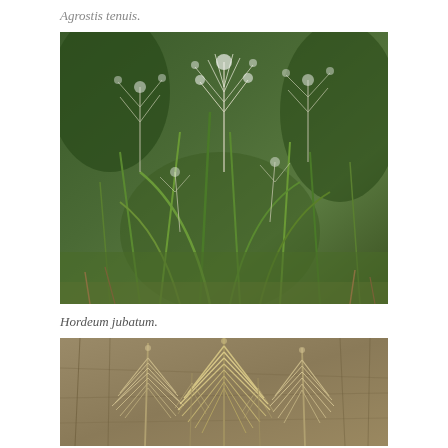Agrostis tenuis.
[Figure (photo): Photograph of Agrostis tenuis grass plant showing feathery white seed heads and green leaves against a background of mixed grasses and vegetation.]
Hordeum jubatum.
[Figure (photo): Photograph of Hordeum jubatum (foxtail barley) showing fluffy, drooping seed heads against a brown grassy background.]